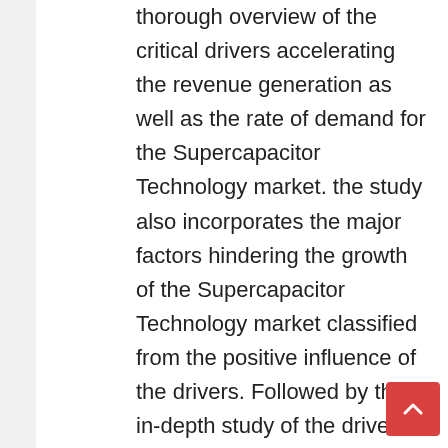thorough overview of the critical drivers accelerating the revenue generation as well as the rate of demand for the Supercapacitor Technology market. the study also incorporates the major factors hindering the growth of the Supercapacitor Technology market classified from the positive influence of the drivers. Followed by the in-depth study of the drivers and restrains altering the growth of the Supercapacitor Technology market is the evaluation of major opportunities and challenges. The report includes a SWOT analysis indicating the strengths and threats to the market.
Vendor Profiling: Supercapacitor Technology Market, 2020-28: